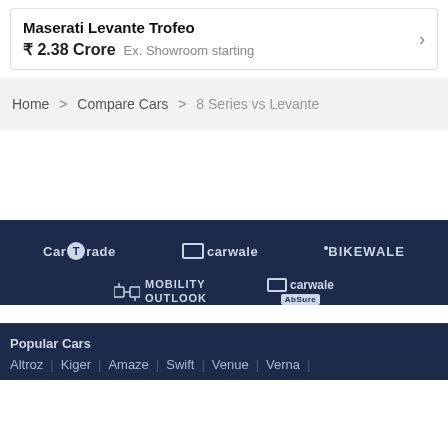Maserati Levante Trofeo
₹ 2.38 Crore  Ex. Showroom starting
Home > Compare Cars > 8 Series vs Levante
[Figure (logo): CarTrade, carwale, BikeWale, Mobility Outlook, carwale AbSure logos on dark navy background]
Popular Cars
Altroz | Kiger | Amaze | Swift | Venue | Verna |